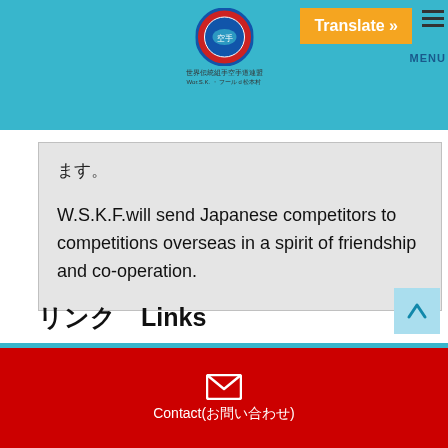[Figure (logo): WSKF logo: circular emblem with Japanese karate organization text, red and blue colors, with Japanese text below]
Translate » MENU
ます。
W.S.K.F.will send Japanese competitors to competitions overseas in a spirit of friendship and co-operation.
リンク　Links
Contact(お問い合わせ)